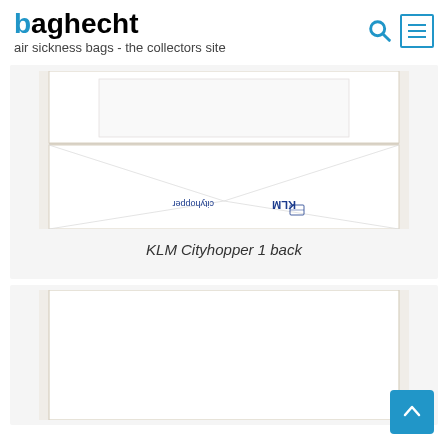baghecht — air sickness bags - the collectors site
[Figure (photo): Back view of KLM Cityhopper air sickness bag, showing the bag unfolded with 'KLM cityhopper' text printed upside-down at the bottom, with a tan/beige border and white interior panels.]
KLM Cityhopper 1 back
[Figure (photo): Front view of a plain white air sickness bag with tan/beige border, partially visible, no text visible.]